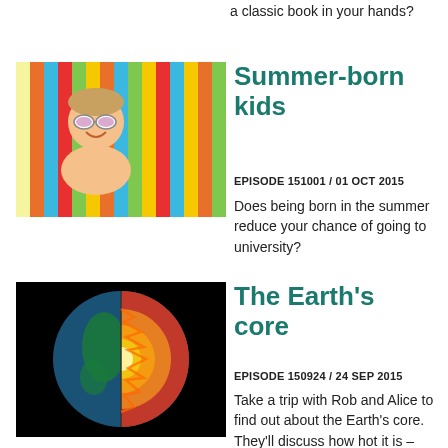a classic book in your hands?
[Figure (photo): Child lying on colorful striped towel wearing sunglasses, summer photo]
Summer-born kids
EPISODE 151001 / 01 OCT 2015
Does being born in the summer reduce your chance of going to university?
[Figure (illustration): Cross-section illustration of the Earth showing its core with glowing orange/red center against black background]
The Earth's core
EPISODE 150924 / 24 SEP 2015
Take a trip with Rob and Alice to find out about the Earth's core. They'll discuss how hot it is – and whether there are any